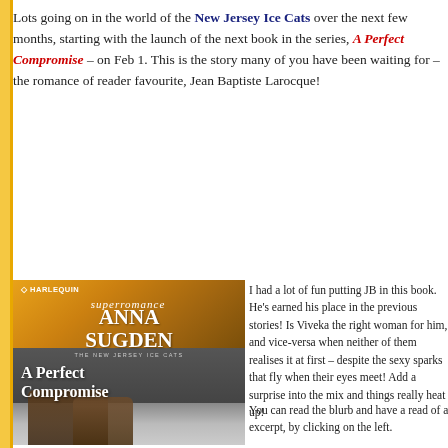Lots going on in the world of the New Jersey Ice Cats over the next few months, starting with the launch of the next book in the series, A Perfect Compromise – on Feb 1. This is the story many of you have been waiting for – the romance of reader favourite, Jean Baptiste Larocque!
[Figure (photo): Book cover for 'A Perfect Compromise' by Anna Sugden, Harlequin Superromance, The New Jersey Ice Cats series. Shows a couple embracing in what appears to be an ice rink setting.]
I had a lot of fun putting JB in this book. He's earned his place in the previous stories! Is Viveka the right woman for him, and vice-versa when neither of them realises it at first – despite the sexy sparks that fly when their eyes meet! Add a surprise into the mix and things really heat up!
You can read the blurb and have a read of a excerpt, by clicking on the left.